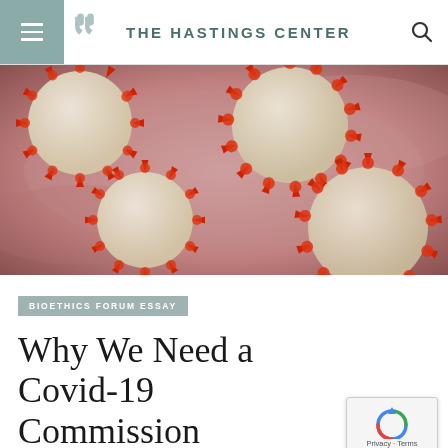THE HASTINGS CENTER
[Figure (photo): Close-up illustration of coronavirus particles (SARS-CoV-2) with red spike proteins on a pink/mauve biological background]
BIOETHICS FORUM ESSAY
Why We Need a Covid-19 Commission